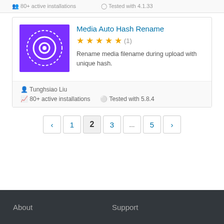80+ active installations   Tested with 4.1.33
Media Auto Hash Rename
★★★★★ (1)
Rename media filename during upload with unique hash.
Tunghsiao Liu
80+ active installations
Tested with 5.8.4
‹
1
2
3
...
5
›
About   Support